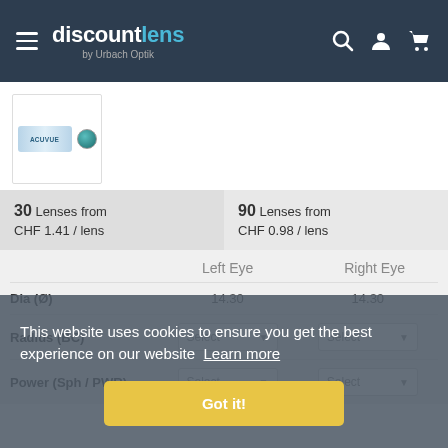discountlens by Urbach Optik
[Figure (photo): Contact lens product box thumbnail image]
30 Lenses from CHF 1.41 / lens
90 Lenses from CHF 0.98 / lens
Left Eye
Right Eye
Dia (Ø)	14.30	14.30
Radius (BC)	Select	Select
Power (Sph / PWR)	Select	Select
This website uses cookies to ensure you get the best experience on our website  Learn more
Got it!